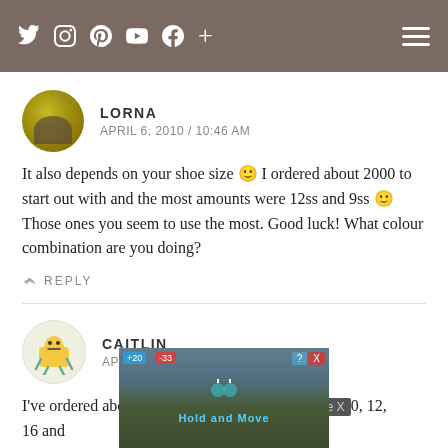Navigation bar with social media icons (Twitter, Instagram, Pinterest, YouTube, Facebook, +) and hamburger menu
LORNA
APRIL 6, 2010 / 10:46 AM
It also depends on your shoe size 🙂 I ordered about 2000 to start out with and the most amounts were 12ss and 9ss 🙂 Those ones you seem to use the most. Good luck! What colour combination are you doing?
↩ REPLY
CAITLIN
APRIL 14, 2010 / 8:34 AM
I've ordered about 5000 crystals in sizes ss5, 10, 12, 16 and ... ough for bot ... er craft project ...
[Figure (screenshot): Ad overlay with 'Hold and Move' app advertisement over background photo of trees, with Close X button and counter badges showing +20 and -33]